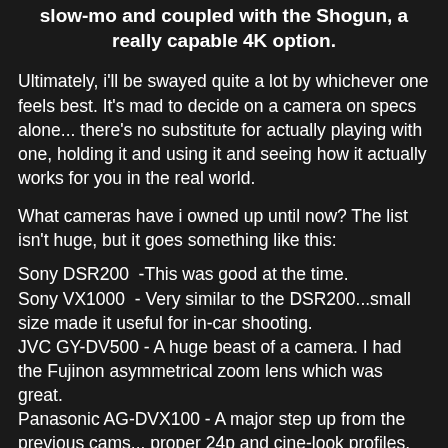slow-mo and coupled with the Shogun, a really capable 4K option.
Ultimately, i'll be swayed quite a lot by whichever one feels best. It's mad to decide on a camera on specs alone... there's no substitute for actually playing with one, holding it and using it and seeing how it actually works for you in the real world.
What cameras have i owned up until now? The list isn't huge, but it goes something like this:
Sony DSR200  -This was good at the time.
Sony VX1000  - Very similar to the DSR200...small size made it useful for in-car shooting.
JVC GY-DV500 - A huge beast of a camera. I had the Fujinon asymmetrical zoom lens which was great.
Panasonic AG-DVX100 - A major step up from the previous cams... proper 24p and cine-look profiles.
Canon 550D - my first DSLR and first step in to HD. A great camera. I still use it.